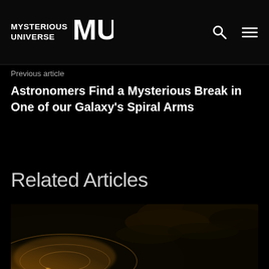MYSTERIOUS UNIVERSE MU
Previous article
Astronomers Find a Mysterious Break in One of our Galaxy's Spiral Arms
Related Articles
[Figure (photo): Artistic rendering of a galaxy spiral arm with golden glowing light and dark dust clouds, viewed from a dramatic angle]